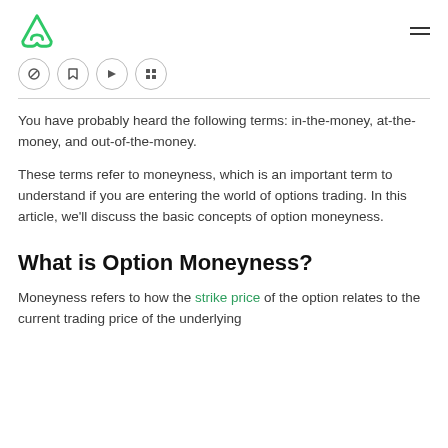Alphabot logo and navigation menu
[Figure (illustration): Row of four circular icon buttons (share, bookmark, podcast/audio, grid/menu)]
You have probably heard the following terms: in-the-money, at-the-money, and out-of-the-money.
These terms refer to moneyness, which is an important term to understand if you are entering the world of options trading. In this article, we'll discuss the basic concepts of option moneyness.
What is Option Moneyness?
Moneyness refers to how the strike price of the option relates to the current trading price of the underlying